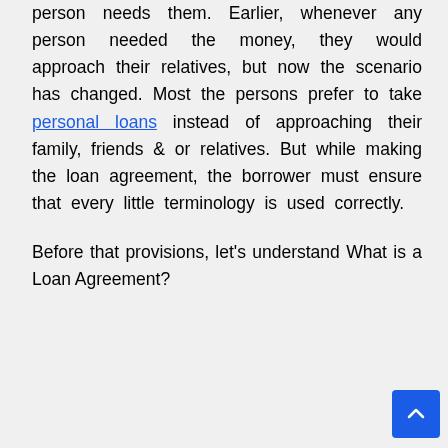person needs them. Earlier, whenever any person needed the money, they would approach their relatives, but now the scenario has changed. Most the persons prefer to take personal loans instead of approaching their family, friends & or relatives. But while making the loan agreement, the borrower must ensure that every little terminology is used correctly.
Before that provisions, let's understand What is a Loan Agreement?